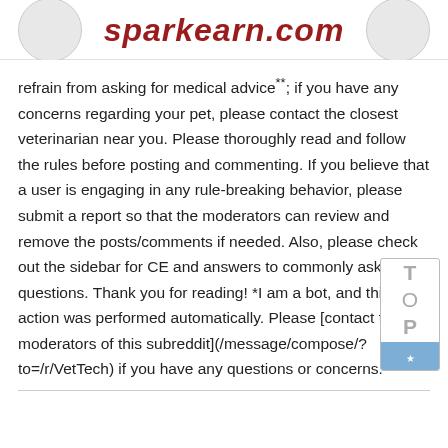sparkearn.com
refrain from asking for medical advice**; if you have any concerns regarding your pet, please contact the closest veterinarian near you. Please thoroughly read and follow the rules before posting and commenting. If you believe that a user is engaging in any rule-breaking behavior, please submit a report so that the moderators can review and remove the posts/comments if needed. Also, please check out the sidebar for CE and answers to commonly asked questions. Thank you for reading! *I am a bot, and this action was performed automatically. Please [contact the moderators of this subreddit](/message/compose/?to=/r/VetTech) if you have any questions or concerns.*